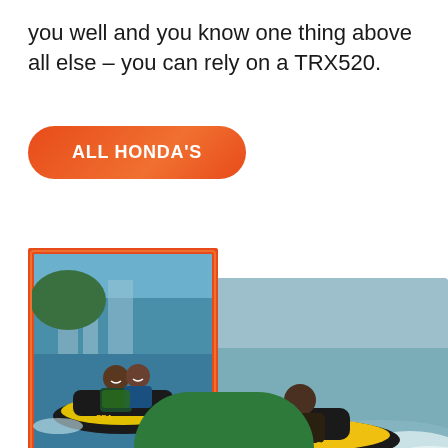you well and you know one thing above all else – you can rely on a TRX520.
ALL HONDA'S
[Figure (photo): Person riding a yellow and black Sea-Doo personal watercraft on the ocean, with white water spray behind. A second overlapping photo shows two people (a man and woman smiling) riding a Sea-Doo together near a coastal cityscape. Both images have orange/red decorative borders. A green semicircle is at the bottom.]